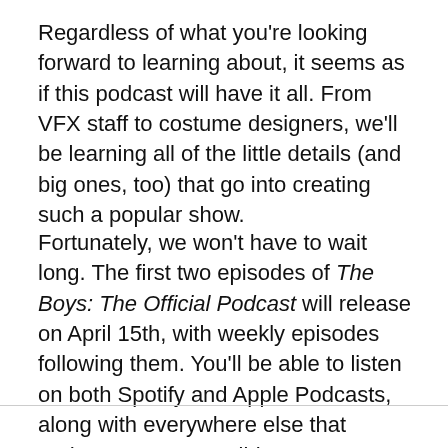Regardless of what you're looking forward to learning about, it seems as if this podcast will have it all. From VFX staff to costume designers, we'll be learning all of the little details (and big ones, too) that go into creating such a popular show.
Fortunately, we won't have to wait long. The first two episodes of The Boys: The Official Podcast will release on April 15th, with weekly episodes following them. You'll be able to listen on both Spotify and Apple Podcasts, along with everywhere else that podcasts are accessible.